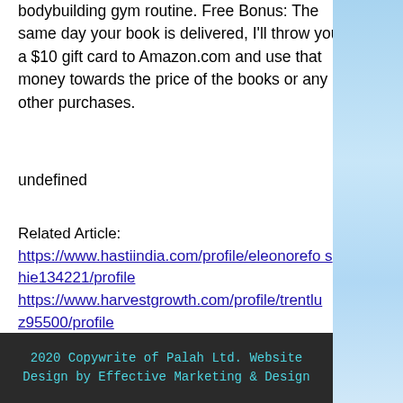bodybuilding gym routine. Free Bonus: The same day your book is delivered, I'll throw you a $10 gift card to Amazon.com and use that money towards the price of the books or any other purchases.
undefined
Related Article:
https://www.hastiindia.com/profile/eleonorefoshie134221/profile
https://www.harvestgrowth.com/profile/trentluz95500/profile
https://www.harleyandsergiodogtraining.com/profile/bradnaes33960/profile
https://www.laurarios.es/profile/renaecobourN99715/profile
2020 Copywrite of Palah Ltd. Website Design by Effective Marketing & Design